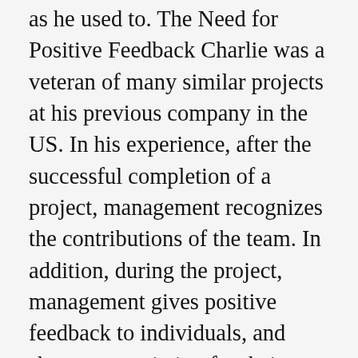as he used to. The Need for Positive Feedback Charlie was a veteran of many similar projects at his previous company in the US. In his experience, after the successful completion of a project, management recognizes the contributions of the team. In addition, during the project, management gives positive feedback to individuals, and shows appreciation for their efforts. After all, without positive feedback from management, employees lose their sense of job satisfaction. This is not merely a matter of personal feelings. Poor morale in one individual, multiplied over many individuals, impacts the company as well.